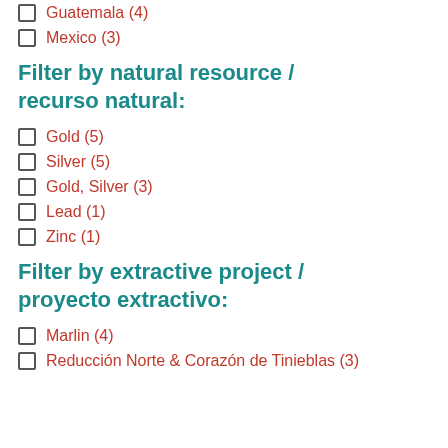Guatemala (4)
Mexico (3)
Filter by natural resource / recurso natural:
Gold (5)
Silver (5)
Gold, Silver (3)
Lead (1)
Zinc (1)
Filter by extractive project / proyecto extractivo:
Marlin (4)
Reducción Norte & Corazón de Tinieblas (3)